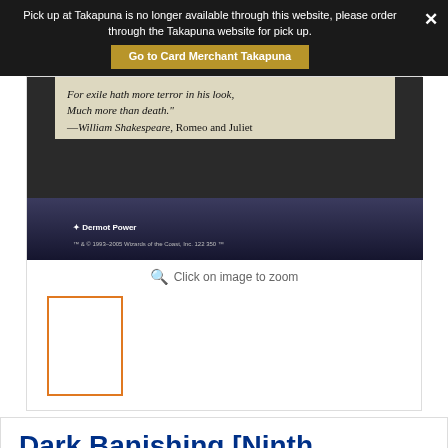Pick up at Takapuna is no longer available through this website, please order through the Takapuna website for pick up.
Go to Card Merchant Takapuna
[Figure (photo): Bottom portion of a Magic: The Gathering card showing a quote from Romeo and Juliet by William Shakespeare, artist credit Dermot Power, and copyright line TM & © 1993-2005 Wizards of the Coast, Inc. 122 350]
Click on image to zoom
[Figure (photo): Small thumbnail of the card with orange border highlight indicating selected state]
Dark Banishing [Ninth